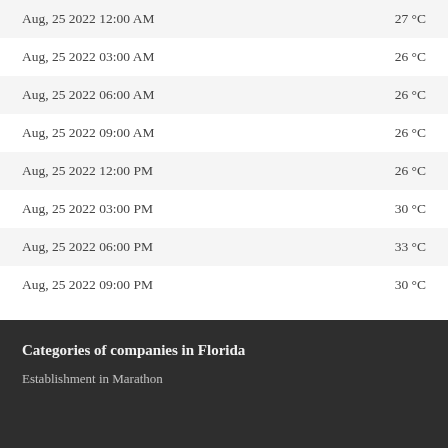| Date/Time | Temperature |
| --- | --- |
| Aug, 25 2022 12:00 AM | 27 °C |
| Aug, 25 2022 03:00 AM | 26 °C |
| Aug, 25 2022 06:00 AM | 26 °C |
| Aug, 25 2022 09:00 AM | 26 °C |
| Aug, 25 2022 12:00 PM | 26 °C |
| Aug, 25 2022 03:00 PM | 30 °C |
| Aug, 25 2022 06:00 PM | 33 °C |
| Aug, 25 2022 09:00 PM | 30 °C |
Categories of companies in Florida
Establishment in Marathon